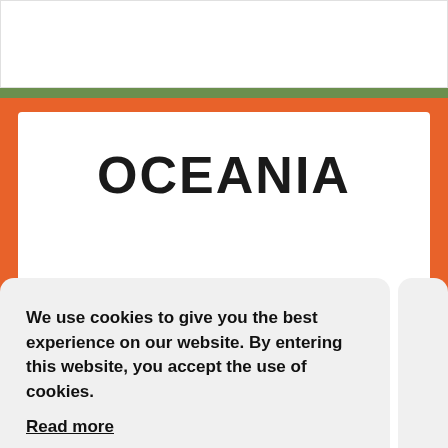OCEANIA
We use cookies to give you the best experience on our website. By entering this website, you accept the use of cookies.
Read more
OK
[Figure (illustration): New Zealand flag partially visible at bottom of page]